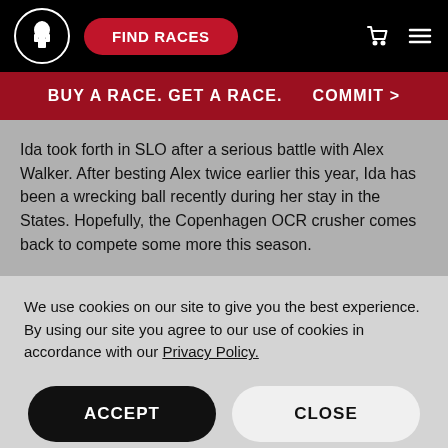FIND RACES
BUY A RACE. GET A RACE.   COMMIT >
Ida took forth in SLO after a serious battle with Alex Walker. After besting Alex twice earlier this year, Ida has been a wrecking ball recently during her stay in the States. Hopefully, the Copenhagen OCR crusher comes back to compete some more this season.
We use cookies on our site to give you the best experience. By using our site you agree to our use of cookies in accordance with our Privacy Policy.
ACCEPT
CLOSE